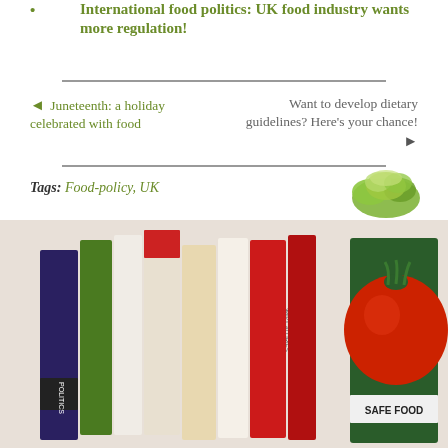International food politics: UK food industry wants more regulation!
◄ Juneteenth: a holiday celebrated with food
Want to develop dietary guidelines? Here's your chance! ►
Tags: Food-policy, UK
[Figure (photo): Stack of food-related books including Pet Food Politics, Feed Your Calories, Marion Nestle Soda, Unsavory, and Safe Food, displayed fanned out with a tomato image visible on one cover]